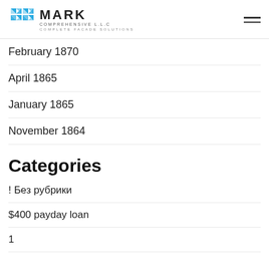Mark Comprehensive LLC — Complete Facade Solutions
February 1870
April 1865
January 1865
November 1864
Categories
! Без рубрики
$400 payday loan
1